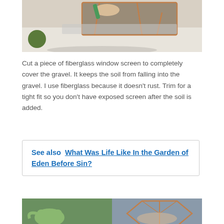[Figure (photo): Hands using scissors to cut fiberglass mesh screen over a geometric copper-framed terrarium filled with gravel, on a white surface]
Cut a piece of fiberglass window screen to completely cover the gravel. It keeps the soil from falling into the gravel. I use fiberglass because it doesn't rust. Trim for a tight fit so you don't have exposed screen after the soil is added.
See also  What Was Life Like In the Garden of Eden Before Sin?
[Figure (photo): Person holding a geometric copper-framed terrarium near a green watering can and plants]